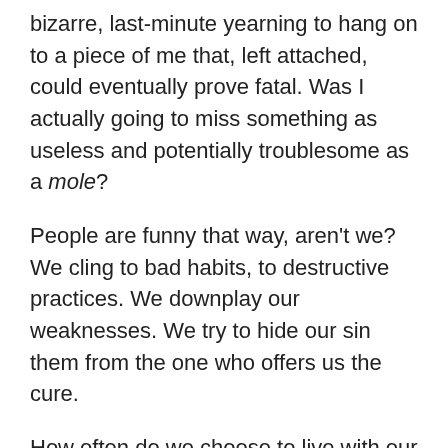bizarre, last-minute yearning to hang on to a piece of me that, left attached, could eventually prove fatal. Was I actually going to miss something as useless and potentially troublesome as a mole?
People are funny that way, aren't we? We cling to bad habits, to destructive practices. We downplay our weaknesses. We try to hide our sin them from the one who offers us the cure.
How often do we choose to live with our pet sins rather than going under the knife of the Great Physician? Sins that, left unchecked, would grow until they, too led to death? My sin might not give me skin cancer, but it certainly threatens the vitality of my spirit, the health of my connection with the Almighty, my ability to love my